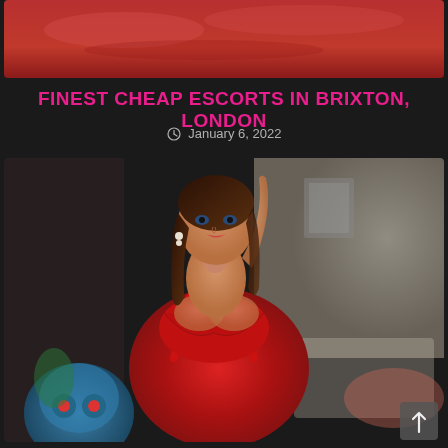[Figure (photo): Top portion of a photo showing a red satin fabric/dress, cropped at the top of the page]
FINEST CHEAP ESCORTS IN BRIXTON, LONDON
January 6, 2022
[Figure (photo): A woman wearing a red satin dress posing in a room with a blue decorative object on the left and a bright background on the right]